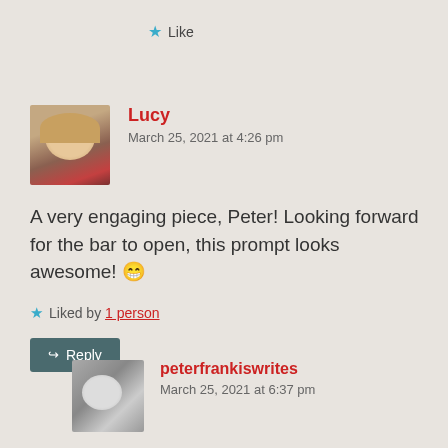Like
Lucy
March 25, 2021 at 4:26 pm
A very engaging piece, Peter! Looking forward for the bar to open, this prompt looks awesome! 😁
Liked by 1 person
Reply
peterfrankiswrites
March 25, 2021 at 6:37 pm